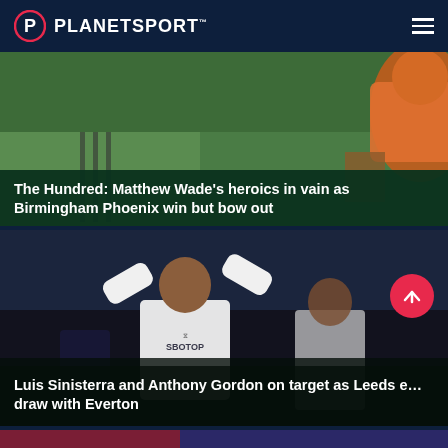PLANETSPORT
[Figure (photo): Cricket action photo showing a player in orange kit leaping or jumping, with green pitch background]
The Hundred: Matthew Wade's heroics in vain as Birmingham Phoenix win but bow out
[Figure (photo): Football player in white Leeds United kit with SBOTOP sponsor celebrating with arms raised looking skyward, another player beside him]
Luis Sinisterra and Anthony Gordon on target as Leeds e... draw with Everton
[Figure (photo): Football scene showing players near a goal net, including one with KOULIBALY visible on shirt]